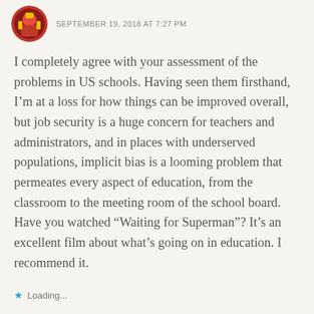[Figure (photo): Circular avatar photo of a person in a red costume, positioned at top left]
SEPTEMBER 19, 2018 AT 7:27 PM
I completely agree with your assessment of the problems in US schools. Having seen them firsthand, I'm at a loss for how things can be improved overall, but job security is a huge concern for teachers and administrators, and in places with underserved populations, implicit bias is a looming problem that permeates every aspect of education, from the classroom to the meeting room of the school board. Have you watched “Waiting for Superman”? It’s an excellent film about what’s going on in education. I recommend it.
Loading...